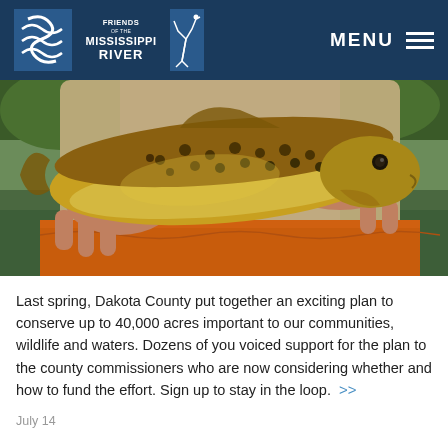Friends of the Mississippi River | MENU
[Figure (photo): A person holding a brown trout fish with both hands over a river, wearing an orange bandana and fishing gear.]
Last spring, Dakota County put together an exciting plan to conserve up to 40,000 acres important to our communities, wildlife and waters. Dozens of you voiced support for the plan to the county commissioners who are now considering whether and how to fund the effort. Sign up to stay in the loop. >>
July 14